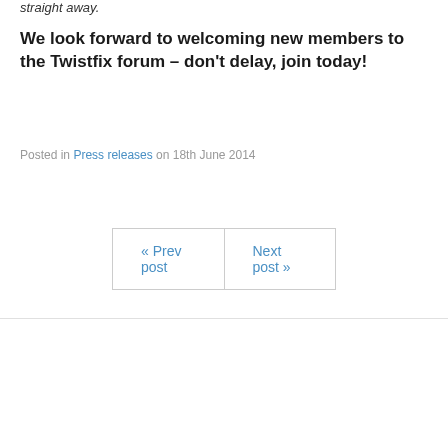straight away.
We look forward to welcoming new members to the Twistfix forum – don't delay, join today!
Posted in Press releases on 18th June 2014
« Prev post   Next post »